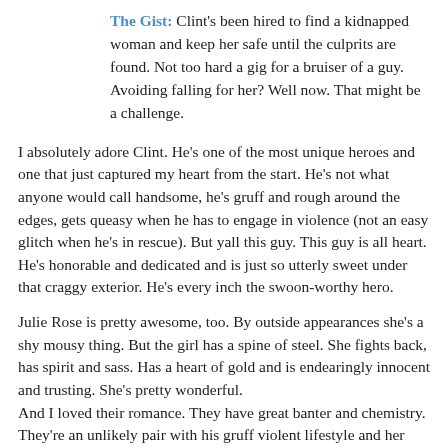The Gist: Clint's been hired to find a kidnapped woman and keep her safe until the culprits are found. Not too hard a gig for a bruiser of a guy. Avoiding falling for her? Well now. That might be a challenge.
I absolutely adore Clint. He's one of the most unique heroes and one that just captured my heart from the start. He's not what anyone would call handsome, he's gruff and rough around the edges, gets queasy when he has to engage in violence (not an easy glitch when he's in rescue). But yall this guy. This guy is all heart. He's honorable and dedicated and is just so utterly sweet under that craggy exterior. He's every inch the swoon-worthy hero.
Julie Rose is pretty awesome, too. By outside appearances she's a shy mousy thing. But the girl has a spine of steel. She fights back, has spirit and sass. Has a heart of gold and is endearingly innocent and trusting. She's pretty wonderful.
And I loved their romance. They have great banter and chemistry. They're an unlikely pair with his gruff violent lifestyle and her softer safe life but they work. I loved that while neither were a knock out, exactly, to each other they were. They both